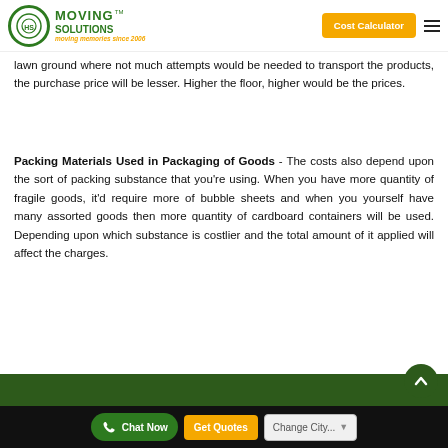Moving Solutions — moving memories since 2006 | Cost Calculator
lawn ground where not much attempts would be needed to transport the products, the purchase price will be lesser. Higher the floor, higher would be the prices.
Packing Materials Used in Packaging of Goods - The costs also depend upon the sort of packing substance that you're using. When you have more quantity of fragile goods, it'd require more of bubble sheets and when you yourself have many assorted goods then more quantity of cardboard containers will be used. Depending upon which substance is costlier and the total amount of it applied will affect the charges.
Chat Now | Get Quotes | Change City...